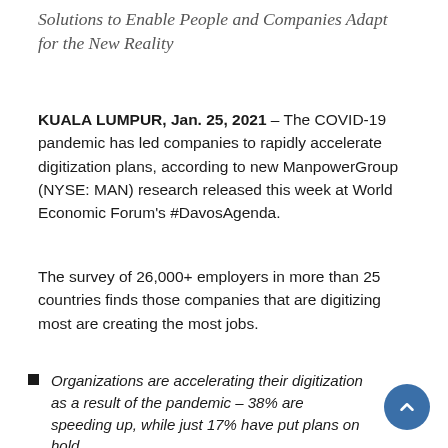Solutions to Enable People and Companies Adapt for the New Reality
KUALA LUMPUR, Jan. 25, 2021 – The COVID-19 pandemic has led companies to rapidly accelerate digitization plans, according to new ManpowerGroup (NYSE: MAN) research released this week at World Economic Forum's #DavosAgenda.
The survey of 26,000+ employers in more than 25 countries finds those companies that are digitizing most are creating the most jobs.
Organizations are accelerating their digitization as a result of the pandemic – 38% are speeding up, while just 17% have put plans on hold.